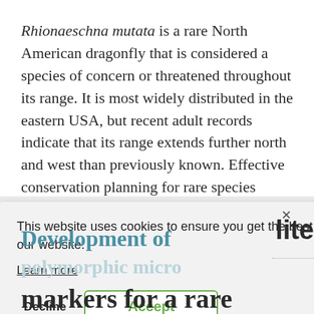Rhionaeschna mutata is a rare North American dragonfly that is considered a species of concern or threatened throughout its range. It is most widely distributed in the eastern USA, but recent adult records indicate that its range extends further north and west than previously known. Effective conservation planning for rare species requires
This website uses cookies to ensure you get the best experience on our website.
Learn more
Decline
Accept
Development of
polymorphic satellite
markers for a rare